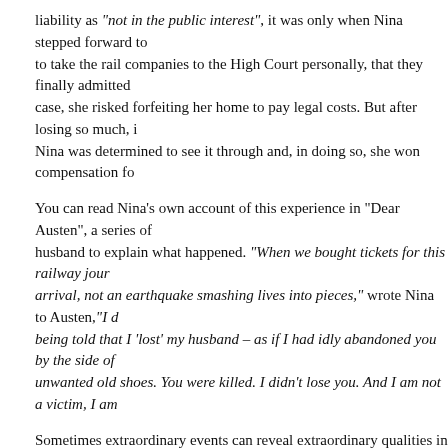liability as "not in the public interest", it was only when Nina stepped forward to to take the rail companies to the High Court personally, that they finally admitted case, she risked forfeiting her home to pay legal costs. But after losing so much, i Nina was determined to see it through and, in doing so, she won compensation fo
You can read Nina's own account of this experience in "Dear Austen", a series of husband to explain what happened. "When we bought tickets for this railway jour arrival, not an earthquake smashing lives into pieces," wrote Nina to Austen, "I d being told that I 'lost' my husband – as if I had idly abandoned you by the side of unwanted old shoes. You were killed. I didn't lose you. And I am not a victim, I am
Sometimes extraordinary events can reveal extraordinary qualities in human being herself to be an extraordinary woman, remarkable not only as a top class novelist, courage who risked everything to stand up for justice. It is one thing to write as a fight for your beliefs when you are at your most vulnerable – this was the momen writer to protagonist, and became a heroine in the process. Nina may not look like is so fragile and retiring, but her strength is on the inside.
Whenever I visit Nina, my sanity is restored. I walk home to Spitalfields along the richer place as I carry the aura of her gentle presence with me. Concluding our co before we went downstairs to enjoy our lunch, Nina smiled radiantly and said, " I novel…" in a line that sounded like a defiant challenge to the universe.